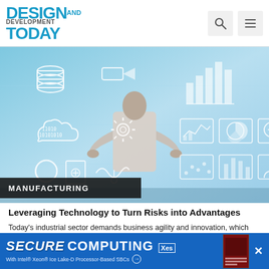DESIGN AND DEVELOPMENT TODAY
[Figure (photo): Person viewed from behind facing a virtual display of digital data icons including bar charts, pie charts, database icons, binary code (11010 10101010), gears, and analytics symbols on a blue-tinted futuristic background]
MANUFACTURING
Leveraging Technology to Turn Risks into Advantages
Today's industrial sector demands business agility and innovation, which means taking advantage of systems that turn data into action.
[Figure (infographic): Advertisement banner: SECURE COMPUTING with Intel® Xeon® Ice Lake-D Processor-Based SBCs by Xes, with book cover image on right and X close button]